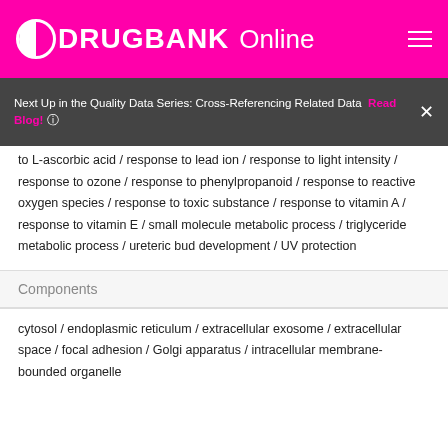DRUGBANK Online
Next Up in the Quality Data Series: Cross-Referencing Related Data  Read Blog!
to L-ascorbic acid / response to lead ion / response to light intensity / response to ozone / response to phenylpropanoid / response to reactive oxygen species / response to toxic substance / response to vitamin A / response to vitamin E / small molecule metabolic process / triglyceride metabolic process / ureteric bud development / UV protection
Components
cytosol / endoplasmic reticulum / extracellular exosome / extracellular space / focal adhesion / Golgi apparatus / intracellular membrane-bounded organelle